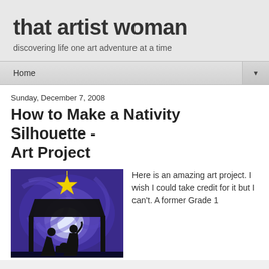that artist woman
discovering life one art adventure at a time
Home
Sunday, December 7, 2008
How to Make a Nativity Silhouette - Art Project
[Figure (photo): A nativity silhouette art project painting showing black silhouettes of nativity figures against a swirling blue and white background with a yellow star above]
Here is an amazing art project. I wish I could take credit for it but I can't. A former Grade 1